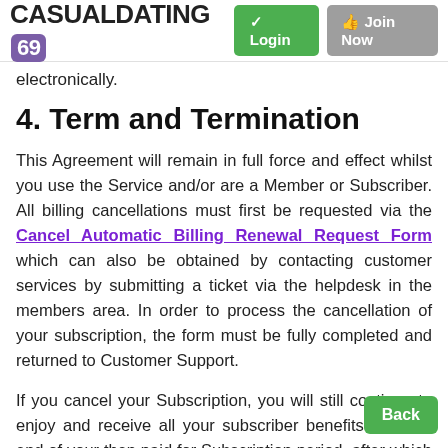CASUALDATING 69  Login  Join Now
electronically.
4. Term and Termination
This Agreement will remain in full force and effect whilst you use the Service and/or are a Member or Subscriber. All billing cancellations must first be requested via the Cancel Automatic Billing Renewal Request Form which can also be obtained by contacting customer services by submitting a ticket via the helpdesk in the members area. In order to process the cancellation of your subscription, the form must be fully completed and returned to Customer Support.
If you cancel your Subscription, you will still continue to enjoy and receive all your subscriber benefits until the end of your then paid for Subscription period, after which time these